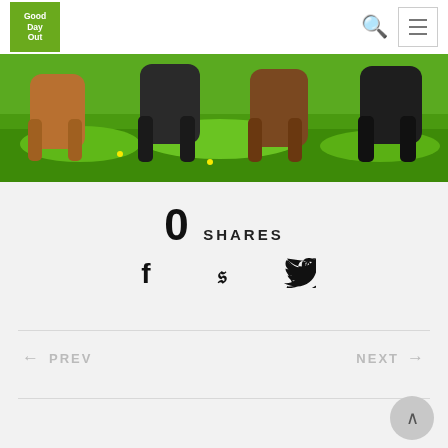[Figure (logo): Good Day Out logo — green square with white bold text]
[Figure (photo): Dogs grazing/playing on green grass, cropped to show their legs and lower bodies]
0 SHARES
[Figure (infographic): Social share icons: Facebook, Pinterest, Twitter]
← PREV
NEXT →